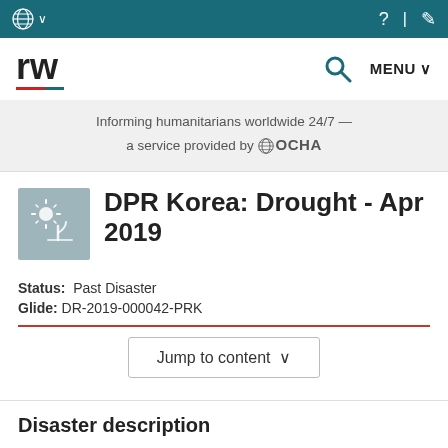ReliefWeb — Informing humanitarians worldwide 24/7 — a service provided by OCHA
DPR Korea: Drought - Apr 2019
Status: Past Disaster
Glide: DR-2019-000042-PRK
Jump to content
Disaster description